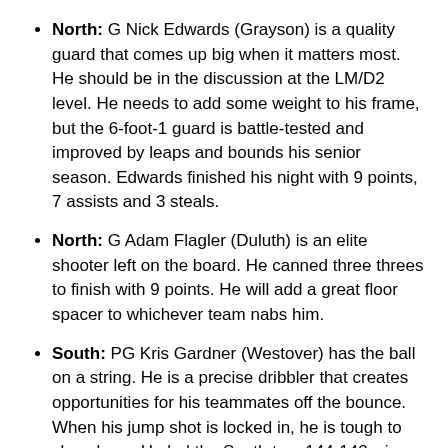North: G Nick Edwards (Grayson) is a quality guard that comes up big when it matters most. He should be in the discussion at the LM/D2 level. He needs to add some weight to his frame, but the 6-foot-1 guard is battle-tested and improved by leaps and bounds his senior season. Edwards finished his night with 9 points, 7 assists and 3 steals.
North: G Adam Flagler (Duluth) is an elite shooter left on the board. He canned three threes to finish with 9 points. He will add a great floor spacer to whichever team nabs him.
South: PG Kris Gardner (Westover) has the ball on a string. He is a precise dribbler that creates opportunities for his teammates off the bounce. When his jump shot is locked in, he is tough to slow down. He led the South to a 144-142 win, collecting 27 points (5 threes), 6 rebounds, 5 assists and 3 steals.
South: G Kylan Hill (Central-Macon) has transformed his...